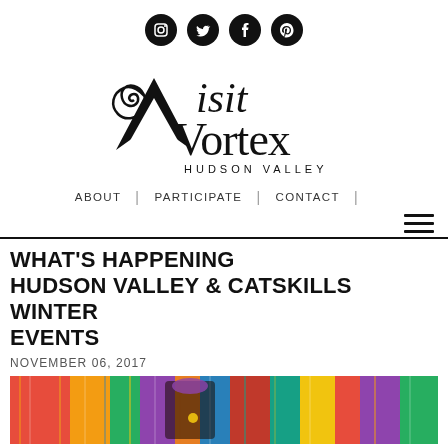[Figure (logo): Row of four social media icons (Instagram, Twitter, Facebook, Pinterest) as filled black circles]
[Figure (logo): Visit Vortex Hudson Valley logo with decorative swirl V and serif text]
ABOUT | PARTICIPATE | CONTACT |
WHAT'S HAPPENING HUDSON VALLEY & CATSKILLS WINTER EVENTS
NOVEMBER 06, 2017
[Figure (photo): Colorful Native American or festival dancers in elaborate feathered and beaded costumes, very vivid colors]